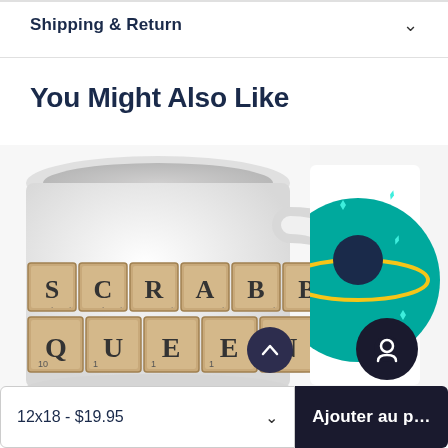Shipping & Return
You Might Also Like
[Figure (photo): White coffee mug with Scrabble tiles spelling SCRABBLE QUEEN printed on the side. The mug has a curved handle on the right.]
[Figure (photo): Partial view of a second mug with a teal circular design featuring planets, orbits, and sparkles.]
12x18 - $19.95
Ajouter au p…